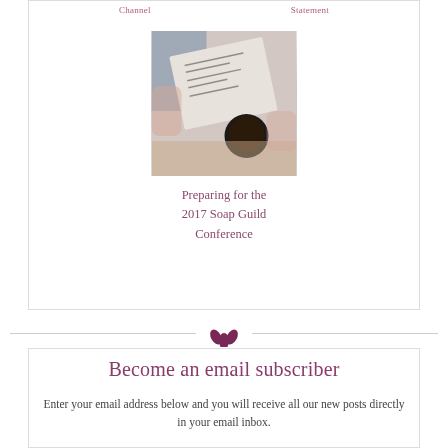Channel    Statement
[Figure (photo): Person holding a document/spreadsheet over a table with a cup of coffee]
Preparing for the 2017 Soap Guild Conference
[Figure (illustration): Purple leaf/flower decorative icon divider]
Become an email subscriber
Enter your email address below and you will receive all our new posts directly in your email inbox.